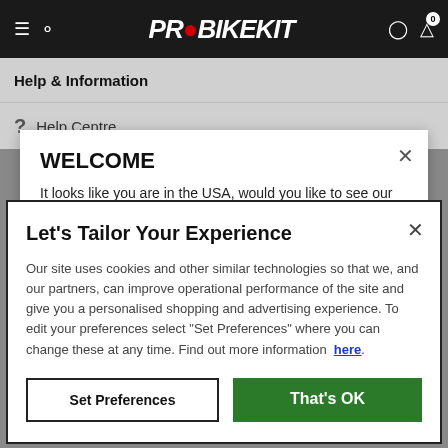[Figure (screenshot): ProBikeKit website navigation bar with hamburger menu, search icon, logo, user icon, and cart icon with badge showing 0]
Help & Information
? Help Centre
WELCOME
It looks like you are in the USA, would you like to see our US site with $USD currency?
Let's Tailor Your Experience
Our site uses cookies and other similar technologies so that we, and our partners, can improve operational performance of the site and give you a personalised shopping and advertising experience. To edit your preferences select "Set Preferences" where you can change these at any time. Find out more information here.
Set Preferences
That's OK